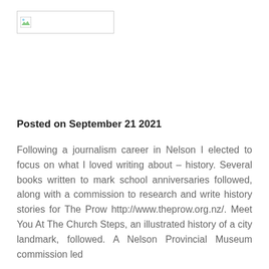[Figure (logo): Broken image placeholder icon with a white rectangle and small image icon in top-left corner]
Posted on September 21 2021
Following a journalism career in Nelson I elected to focus on what I loved writing about – history. Several books written to mark school anniversaries followed, along with a commission to research and write history stories for The Prow http://www.theprow.org.nz/. Meet You At The Church Steps, an illustrated history of a city landmark, followed. A Nelson Provincial Museum commission led